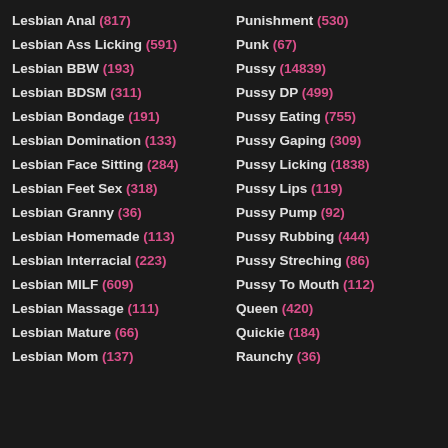Lesbian Anal (817)
Lesbian Ass Licking (591)
Lesbian BBW (193)
Lesbian BDSM (311)
Lesbian Bondage (191)
Lesbian Domination (133)
Lesbian Face Sitting (284)
Lesbian Feet Sex (318)
Lesbian Granny (36)
Lesbian Homemade (113)
Lesbian Interracial (223)
Lesbian MILF (609)
Lesbian Massage (111)
Lesbian Mature (66)
Lesbian Mom (137)
Punishment (530)
Punk (67)
Pussy (14839)
Pussy DP (499)
Pussy Eating (755)
Pussy Gaping (309)
Pussy Licking (1838)
Pussy Lips (119)
Pussy Pump (92)
Pussy Rubbing (444)
Pussy Streching (86)
Pussy To Mouth (112)
Queen (420)
Quickie (184)
Raunchy (36)